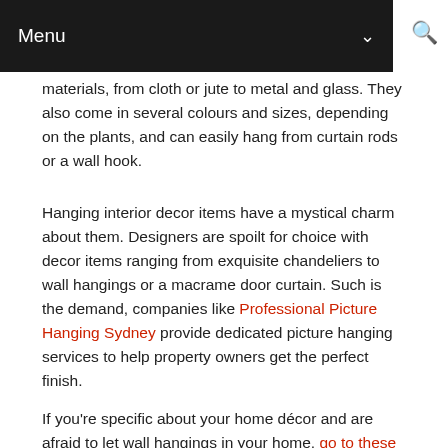Menu
materials, from cloth or jute to metal and glass. They also come in several colours and sizes, depending on the plants, and can easily hang from curtain rods or a wall hook.
Hanging interior decor items have a mystical charm about them. Designers are spoilt for choice with decor items ranging from exquisite chandeliers to wall hangings or a macrame door curtain. Such is the demand, companies like Professional Picture Hanging Sydney provide dedicated picture hanging services to help property owners get the perfect finish.
If you're specific about your home décor and are afraid to let wall hangings in your home, go to these guys, so you will know why you should consider them as well.
Author Bio: Hannah Gilbert is a freelance writer who